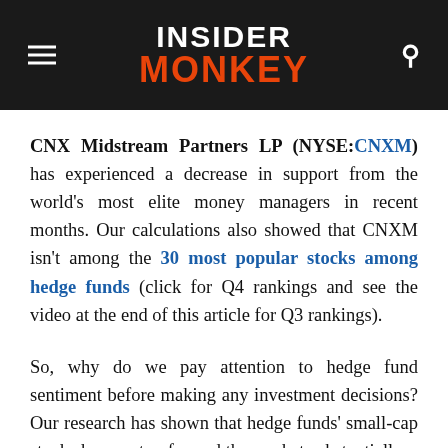INSIDER MONKEY
CNX Midstream Partners LP (NYSE:CNXM) has experienced a decrease in support from the world's most elite money managers in recent months. Our calculations also showed that CNXM isn't among the 30 most popular stocks among hedge funds (click for Q4 rankings and see the video at the end of this article for Q3 rankings).
So, why do we pay attention to hedge fund sentiment before making any investment decisions? Our research has shown that hedge funds' small-cap stocks have outperformed the market substantially.